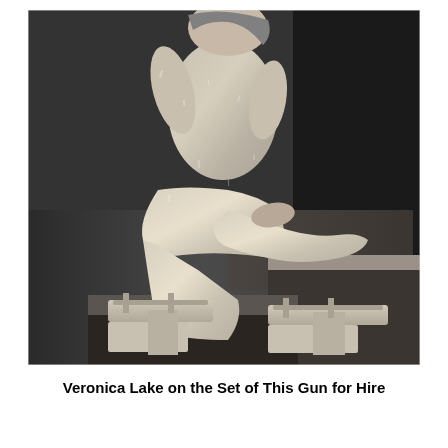[Figure (photo): Black and white photograph of Veronica Lake sitting on a stepped platform/pedestal on the set of This Gun for Hire. She is wearing a shimmering metallic jumpsuit/wide-leg pants outfit and high-heeled platform sandals. Her face is partially cropped at the top of the image. The background is dark.]
Veronica Lake on the Set of This Gun for Hire